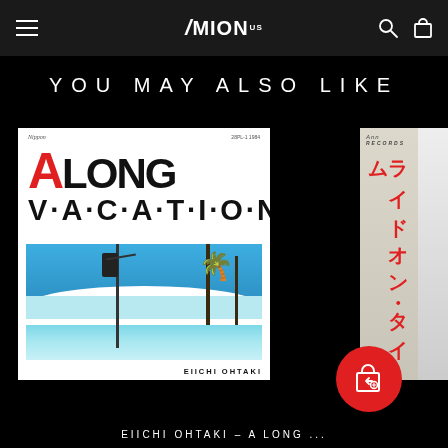MION
YOU MAY ALSO LIKE
[Figure (photo): Album cover of 'A LONG VACATION' by Eiichi Ohtaki, showing large stylized text 'A LONG V·A·C·A·T·I·O·N' with a beach/ocean scene with palm trees and a traffic light below]
[Figure (photo): Partial view of a second album with Japanese text in red vertical writing on a light beige/cream background with a red obi strip]
EIICHI OHTAKI – A LONG ...